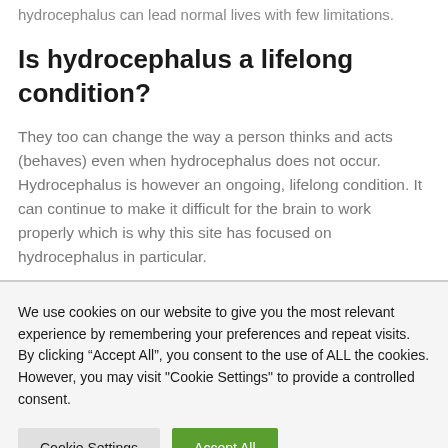hydrocephalus can lead normal lives with few limitations.
Is hydrocephalus a lifelong condition?
They too can change the way a person thinks and acts (behaves) even when hydrocephalus does not occur. Hydrocephalus is however an ongoing, lifelong condition. It can continue to make it difficult for the brain to work properly which is why this site has focused on hydrocephalus in particular.
We use cookies on our website to give you the most relevant experience by remembering your preferences and repeat visits. By clicking “Accept All”, you consent to the use of ALL the cookies. However, you may visit "Cookie Settings" to provide a controlled consent.